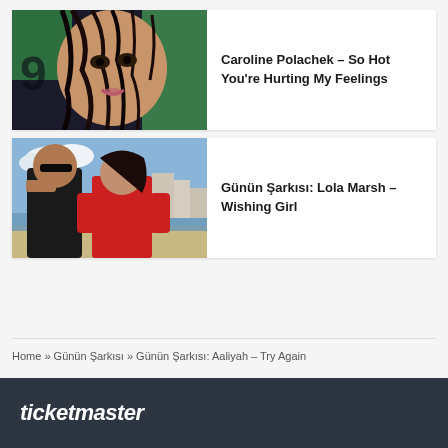[Figure (photo): Close-up portrait of a woman with wet dark hair covering her face, against a green background]
Caroline Polachek – So Hot You're Hurting My Feelings
[Figure (photo): A man and a woman standing on a beach, woman wearing red turtleneck, man in black jacket with sunglasses]
Günün Şarkısı: Lola Marsh – Wishing Girl
Home » Günün Şarkısı » Günün Şarkısı: Aaliyah – Try Again
ticketmaster